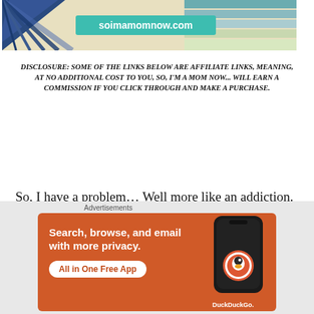[Figure (photo): Website banner for soimamomnow.com with teal URL overlay on decorative background with blue, teal, green and beige stripes/shapes]
DISCLOSURE: SOME OF THE LINKS BELOW ARE AFFILIATE LINKS, MEANING, AT NO ADDITIONAL COST TO YOU, SO, I'M A MOM NOW... WILL EARN A COMMISSION IF YOU CLICK THROUGH AND MAKE A PURCHASE.
So, I have a problem… Well more like an addiction. I am addicted to monthly subscription boxes. I find new boxes all the time either on social media, word of mouth, from friends and family, or just surfing the
[Figure (screenshot): DuckDuckGo advertisement banner with orange background: 'Search, browse, and email with more privacy. All in One Free App' with DuckDuckGo logo and phone mockup]